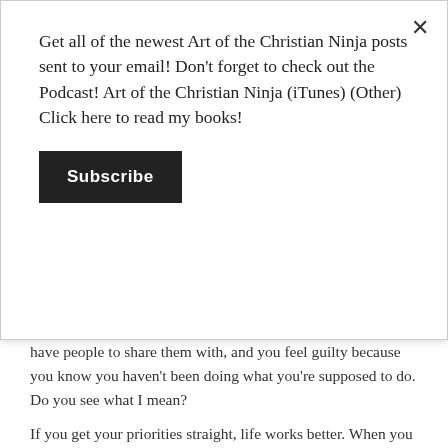Get all of the newest Art of the Christian Ninja posts sent to your email! Don't forget to check out the Podcast! Art of the Christian Ninja (iTunes) (Other) Click here to read my books!
Subscribe
have people to share them with, and you feel guilty because you know you haven't been doing what you're supposed to do. Do you see what I mean?
If you get your priorities straight, life works better. When you get your priorities out of whack, your life goes out of whack too. If you spend your time pouring your life into your hobby – you will lose your job, and probably your key relationships too. If you spend all your time at work, then you will not fulfil your Life's Purpose, and you will harm your Key Relationships. And if you stop connecting to God's unlimited resources, then you will be running off of a limited amount of life-juice that will eventually dry-up. I've been there – it's not pretty.
The final pipe is the Waste pipe. The Waste My Time pipe – it's red and doesn't even get a bucket. Nothing is accomplished, no